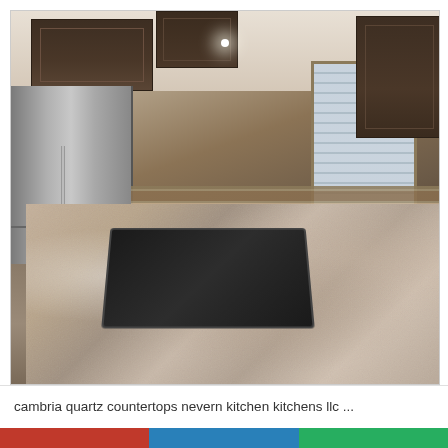[Figure (photo): Interior kitchen photo showing dark espresso wood cabinets, stainless steel side-by-side refrigerator, granite/quartz island countertop in the foreground with a black cooktop, backsplash with decorative tile pattern, undermount sink with faucet, window with blinds, and hardwood flooring.]
cambria quartz countertops nevern kitchen kitchens llc ...